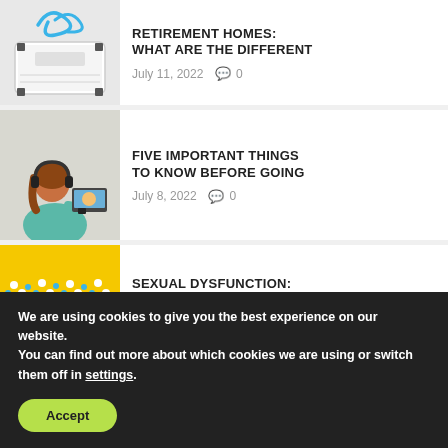[Figure (photo): Weight scale with blue measuring tape on white background]
RETIREMENT HOMES: WHAT ARE THE DIFFERENT
July 11, 2022  💬 0
[Figure (photo): Woman with headphones at laptop on video call]
FIVE IMPORTANT THINGS TO KNOW BEFORE GOING
July 8, 2022  💬 0
[Figure (photo): Yellow background with HEALTH text made of pills and capsules]
SEXUAL DYSFUNCTION: WHAT YOU NEED TO KNOW
We are using cookies to give you the best experience on our website.
You can find out more about which cookies we are using or switch them off in settings.
Accept